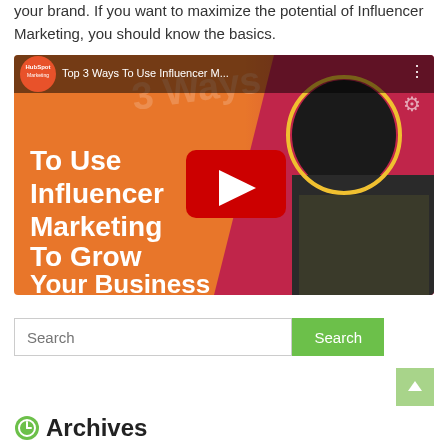your brand. If you want to maximize the potential of Influencer Marketing, you should know the basics.
[Figure (screenshot): YouTube video thumbnail from HubSpot Marketing titled 'Top 3 Ways To Use Influencer M...' showing bold white text on orange background reading 'To Use Influencer Marketing To Grow Your Business' with a red YouTube play button in the center and a person's face on the right side.]
Search
Archives